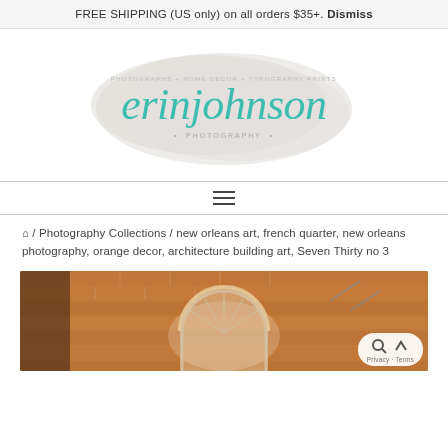FREE SHIPPING (US only) on all orders $35+. Dismiss
[Figure (logo): Erin Johnson Photography logo with script font in teal, tagline 'PHOTOGRAPHS + HOME DECOR + TYPOGRAPHY PRINTS' above and '• PHOTOGRAPHY •' below, on a watercolor blob background]
Navigation menu (hamburger icon)
🏠 / Photography Collections / new orleans art, french quarter, new orleans photography, orange decor, architecture building art, Seven Thirty no 3
[Figure (photo): Photograph of a French Quarter building architecture with an arched window with fan detail, warm orange brick tones, partially visible balcony and street scene]